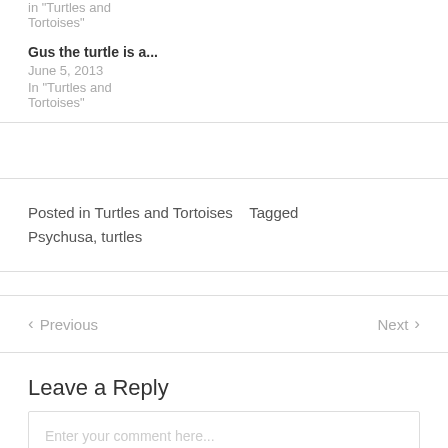in "Turtles and Tortoises"
Gus the turtle is a...
June 5, 2013
In "Turtles and Tortoises"
Posted in Turtles and Tortoises   Tagged Psychusa, turtles
Previous   Next
Leave a Reply
Enter your comment here...